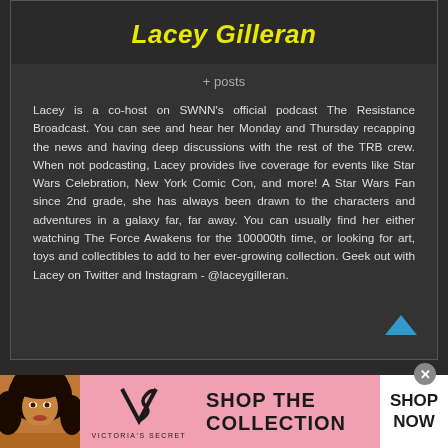Lacey Gilleran
+ posts
Lacey is a co-host on SWNN's official podcast The Resistance Broadcast. You can see and hear her Monday and Thursday recapping the news and having deep discussions with the rest of the TRB crew. When not podcasting, Lacey provides live coverage for events like Star Wars Celebration, New York Comic Con, and more! A Star Wars Fan since 2nd grade, she has always been drawn to the characters and adventures in a galaxy far, far away. You can usually find her either watching The Force Awakens for the 100000th time, or looking for art, toys and collectibles to add to her ever-growing collection. Geek out with Lacey on Twitter and Instagram - @laceygilleran.
[Figure (illustration): Victoria's Secret advertisement banner with model photo, VS logo, 'SHOP THE COLLECTION' text, and 'SHOP NOW' button]